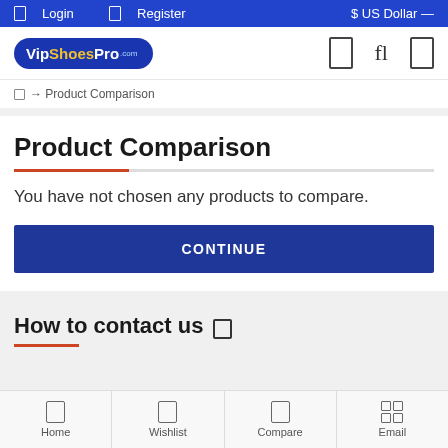Login  Register  $ US Dollar
[Figure (logo): VipShoesPro logo - blue oval shape with white and yellow text]
→ Product Comparison
Product Comparison
You have not chosen any products to compare.
CONTINUE
How to contact us
Home  Wishlist  Compare  Email